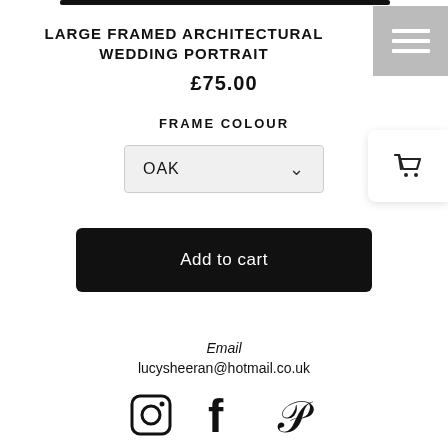LARGE FRAMED ARCHITECTURAL WEDDING PORTRAIT
£75.00
FRAME COLOUR
OAK
Add to cart
Email
lucysheeran@hotmail.co.uk
[Figure (other): Social media icons: Instagram, Facebook, Pinterest]